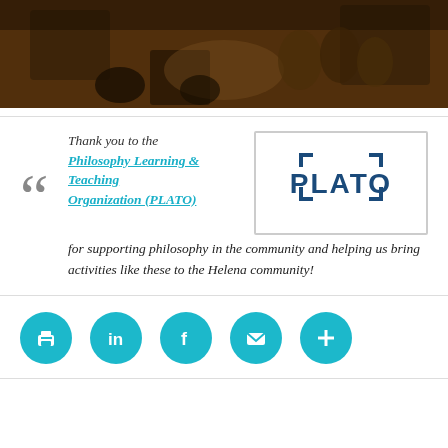[Figure (photo): Dark interior photo showing people seated around a table in a dimly lit room with barrels and shelving in the background]
[Figure (logo): PLATO logo — text reading 'PLATO' with a bracket/frame graphic above the letters L and A, in dark blue]
Thank you to the Philosophy Learning & Teaching Organization (PLATO) for supporting philosophy in the community and helping us bring activities like these to the Helena community!
[Figure (infographic): Row of teal circular social share/action icons: print, LinkedIn, Facebook, email, and plus/more]